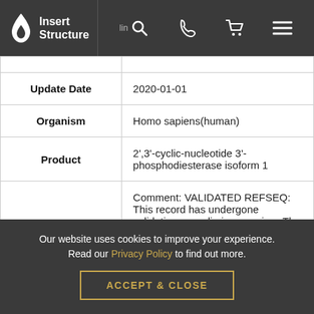[Figure (screenshot): Website navigation bar with logo (Insert Structure), search, phone, cart, and menu icons on dark background]
| Update Date | 2020-01-01 |
| Organism | Homo sapiens(human) |
| Product | 2',3'-cyclic-nucleotide 3'-phosphodiesterase isoform 1 |
|  | Comment: VALIDATED REFSEQ: This record has undergone validation or preliminary review. The reference sequence was |
Our website uses cookies to improve your experience. Read our Privacy Policy to find out more.
ACCEPT & CLOSE